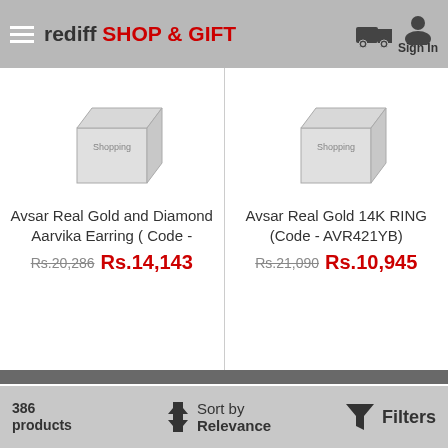rediff SHOP & GIFT
[Figure (screenshot): Product card 1: Avsar Real Gold and Diamond Aarvika Earring (Code - with shopping placeholder image. Original price Rs.20,286, Sale price Rs.14,143]
[Figure (screenshot): Product card 2: Avsar Real Gold 14K RING (Code - AVR421YB) with shopping placeholder image. Original price Rs.21,090, Sale price Rs.10,945]
Rediff Shopping is a pioneering Intermediary Marketplace committed to giving our Customers & Sellers a good online shopping experience. In case there is any information missing or incorrect on this webpage, you are requested to bring it to the notice of the Seller.
386 products  Sort by Relevance  Filters